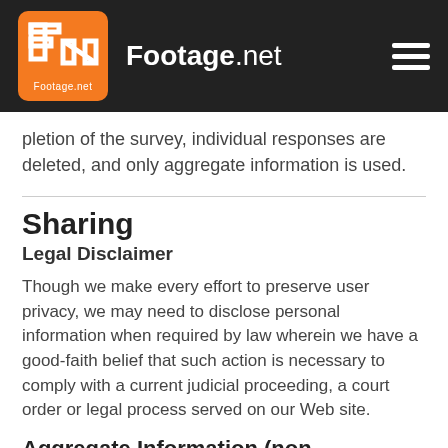Footage.net
pletion of the survey, individual responses are deleted, and only aggregate information is used.
Sharing
Legal Disclaimer
Though we make every effort to preserve user privacy, we may need to disclose personal information when required by law wherein we have a good-faith belief that such action is necessary to comply with a current judicial proceeding, a court order or legal process served on our Web site.
Aggregate Information (non-personally identifiable)
We share aggregated demographic